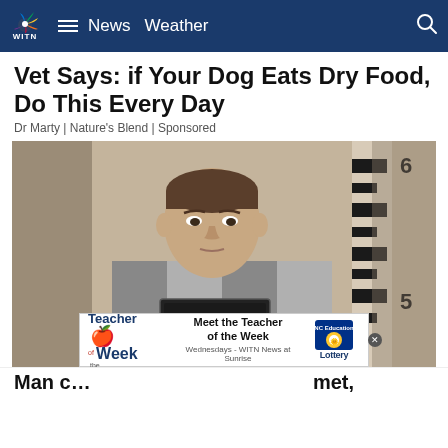WITN News Weather
Vet Says: if Your Dog Eats Dry Food, Do This Every Day
Dr Marty | Nature's Blend | Sponsored
[Figure (photo): Mugshot of a young man in a striped jail uniform holding a Mitchell County Sheriff Osage IA booking placard reading '8645 8-19-22', standing against a beige height-chart wall marked at 5 and 6 feet]
Man c... met,